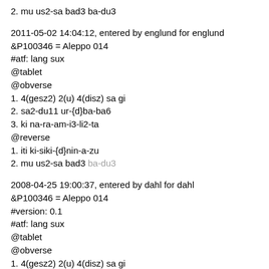2. mu us2-sa bad3 ba-du3
2011-05-02 14:04:12, entered by englund for englund
&P100346 = Aleppo 014
#atf: lang sux
@tablet
@obverse
1. 4(gesz2) 2(u) 4(disz) sa gi
2. sa2-du11 ur-{d}ba-ba6
3. ki na-ra-am-i3-li2-ta
@reverse
1. iti ki-siki-{d}nin-a-zu
2. mu us2-sa bad3 ba-du3
2008-04-25 19:00:37, entered by dahl for dahl
&P100346 = Aleppo 014
#version: 0.1
#atf: lang sux
@tablet
@obverse
1. 4(gesz2) 2(u) 4(disz) sa gi
#lem: n; n; n; sa[bundle]; gi[reed]
2. sa2-du11 ur-{d}ba-ba6
#lem: sadug[offerings]; PN
3. ki na-ra-am-i3-li2-ta
#lem: ki[place]; PN